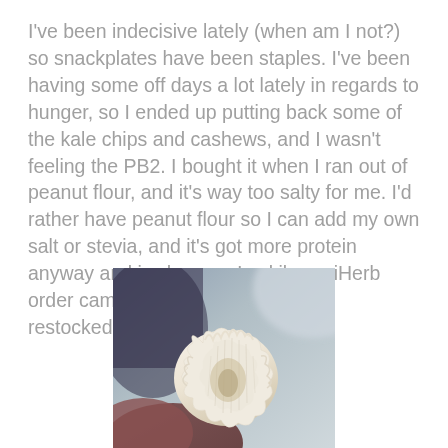I've been indecisive lately (when am I not?) so snackplates have been staples. I've been having some off days a lot lately in regards to hunger, so I ended up putting back some of the kale chips and cashews, and I wasn't feeling the PB2. I bought it when I ran out of peanut flour, and it's way too salty for me. I'd rather have peanut flour so I can add my own salt or stevia, and it's got more protein anyway and is cheaper. Luckily my iHerb order came just in time and now I'm restocked.
[Figure (photo): Close-up photo of a white/cream colored ruffled or layered food item (possibly a chip or cracker) held by a hand, with a blurred gray/blue background.]